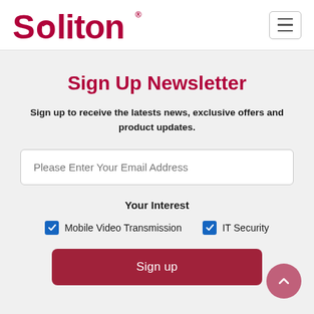Soliton
Sign Up Newsletter
Sign up to receive the latests news, exclusive offers and product updates.
Please Enter Your Email Address
Your Interest
Mobile Video Transmission
IT Security
Sign up